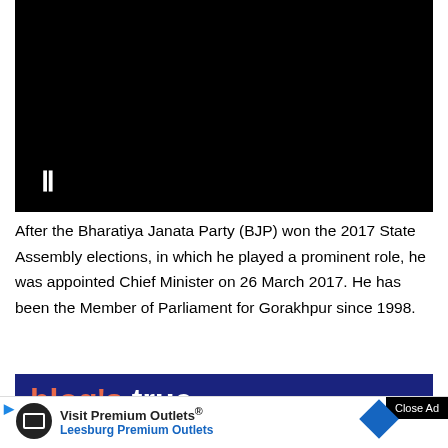[Figure (screenshot): Black video player area with pause icon (two vertical bars) visible at bottom left]
After the Bharatiya Janata Party (BJP) won the 2017 State Assembly elections, in which he played a prominent role, he was appointed Chief Minister on 26 March 2017. He has been the Member of Parliament for Gorakhpur since 1998.
[Figure (screenshot): Advertisement banner with dark blue background showing 'blog's true' in coral/white text and 'revenue potential' below it]
[Figure (screenshot): Bottom advertisement bar: 'Visit Premium Outlets® Leesburg Premium Outlets' with play icon, circular logo, and diamond navigation icon. Close Ad button on the right.]